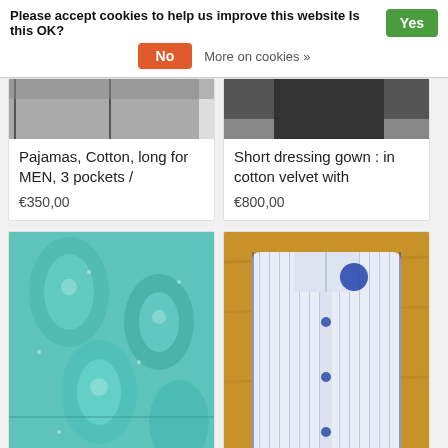Please accept cookies to help us improve this website Is this OK?  Yes  No  More on cookies »
Pajamas, Cotton, long for MEN, 3 pockets /
€350,00
Short dressing gown : in cotton velvet with
€800,00
[Figure (photo): Teal/turquoise paisley fabric — Meter Kami product]
Meter Kami, for bed linen, curtain linen,
[Figure (photo): Folded striped men's sleeveless nightwear shirt with blue button detail on wooden surface]
Nightwear with men's sleeveless hood